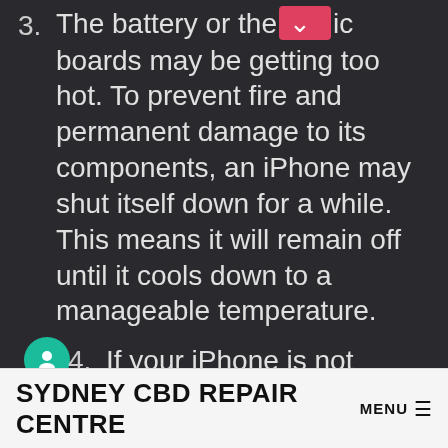3. The battery or the logic boards may be getting too hot. To prevent fire and permanent damage to its components, an iPhone may shut itself down for a while. This means it will remain off until it cools down to a manageable temperature.
4. If your iPhone is not charging at all, then try troubleshooting the cables and power adapters. You may even need to replace the charging port. This will take professional help, so avoid doing it if you
SYDNEY CBD REPAIR CENTRE MENU ≡